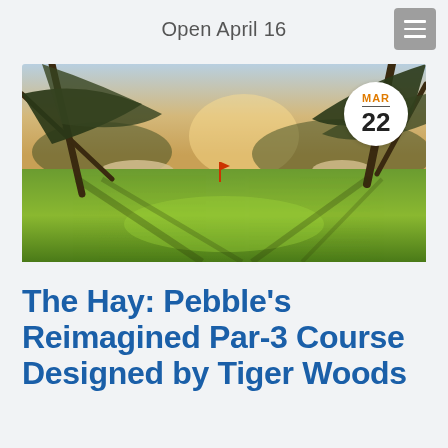Open April 16
[Figure (photo): Golf course photo showing a sunlit fairway and green with large live oak trees casting long shadows across the grass, sand bunkers visible in the background, taken at golden hour. A date badge showing MAR 22 is overlaid in the top-right corner.]
The Hay: Pebble’s Reimagined Par-3 Course Designed by Tiger Woods